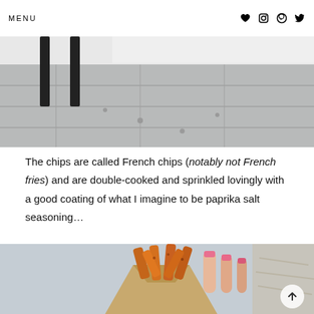MENU
[Figure (photo): Outdoor pavement/patio scene with dark metal table legs visible on grey stone tiles]
The chips are called French chips (notably not French fries) and are double-cooked and sprinkled lovingly with a good coating of what I imagine to be paprika salt seasoning…
[Figure (photo): Close-up of seasoned French chips (thick-cut fries) in a kraft paper cone, held by a person with pink nail polish, with a blurred outdoor background]